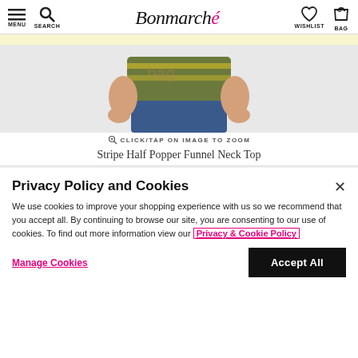Bonmarché — MENU | SEARCH | WISHLIST | BAG
[Figure (photo): Product photo of a person wearing a Stripe Half Popper Funnel Neck Top — torso and hands visible, wearing blue jeans and a green/yellow striped top. Watermark 'bag' visible.]
CLICK/TAP ON IMAGE TO ZOOM
Stripe Half Popper Funnel Neck Top
Privacy Policy and Cookies
We use cookies to improve your shopping experience with us so we recommend that you accept all. By continuing to browse our site, you are consenting to our use of cookies. To find out more information view our Privacy & Cookie Policy
Manage Cookies
Accept All